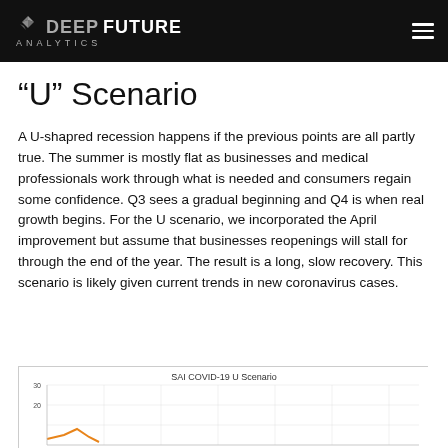DEEP FUTURE ANALYTICS
“U” Scenario
A U-shapred recession happens if the previous points are all partly true. The summer is mostly flat as businesses and medical professionals work through what is needed and consumers regain some confidence. Q3 sees a gradual beginning and Q4 is when real growth begins. For the U scenario, we incorporated the April improvement but assume that businesses reopenings will stall for through the end of the year. The result is a long, slow recovery. This scenario is likely given current trends in new coronavirus cases.
[Figure (line-chart): Partial line chart showing SAI COVID-19 U Scenario with y-axis values around 20-30, orange line visible at bottom left]